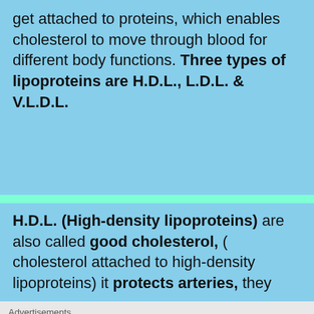get attached to proteins, which enables cholesterol to move through blood for different body functions. Three types of lipoproteins are H.D.L., L.D.L. & V.L.D.L.
H.D.L. (High-density lipoproteins) are also called good cholesterol, ( cholesterol attached to high-density lipoproteins) it protects arteries, they
[Figure (screenshot): Advertisement bar with WhatsApp 'How can I help you?' chat button and close icon]